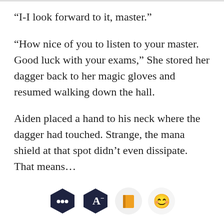“I-I look forward to it, master.”
“How nice of you to listen to your master. Good luck with your exams,” She stored her dagger back to her magic gloves and resumed walking down the hall.
Aiden placed a hand to his neck where the dagger had touched. Strange, the mana shield at that spot didn’t even dissipate. That means…
[Figure (screenshot): App toolbar with four icons: chat bubble (dark hexagon), font/text (dark hexagon with A and minus), book (orange circle), and happy face emoji (light circle)]